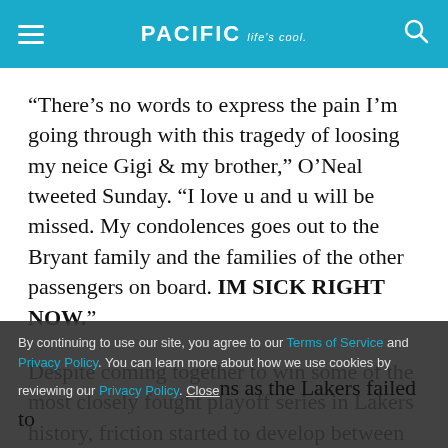PACIFIC Life's cool.
“There’s no words to express the pain I’m going through with this tragedy of loosing my neice Gigi & my brother,” O’Neal tweeted Sunday. “I love u and u will be missed. My condolences goes out to the Bryant family and the families of the other passengers on board. IM SICK RIGHT NOW.”
Despite coming together to win some of the most closely fought playoff series in Lakers history, friction started to develop between Bryant and O’Neal. Tension
By continuing to use our site, you agree to our Terms of Service and Privacy Policy. You can learn more about how we use cookies by reviewing our Privacy Policy. Close
ns as the Lakers failed to